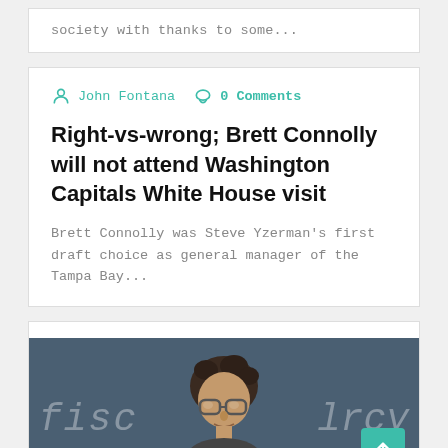society with thanks to some...
John Fontana   0 Comments
Right-vs-wrong; Brett Connolly will not attend Washington Capitals White House visit
Brett Connolly was Steve Yzerman's first draft choice as general manager of the Tampa Bay...
[Figure (photo): Photo of a man with curly dark hair and large glasses, in front of a chalkboard with partial words visible]